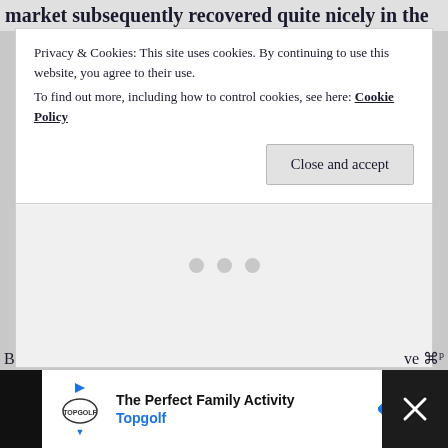market subsequently recovered quite nicely in the
Privacy & Cookies: This site uses cookies. By continuing to use this website, you agree to their use.
To find out more, including how to control cookies, see here: Cookie Policy
[Figure (other): Cookie consent banner with Close and accept button, and a grey content area with three dots loading indicator]
[Figure (other): Advertisement banner for Topgolf - The Perfect Family Activity, with Topgolf logo and navigation arrow icon, on dark background with close button]